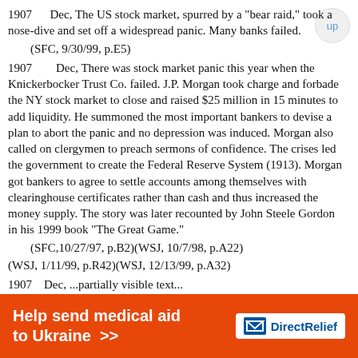1907    Dec, The US stock market, spurred by a "bear raid," took a nose-dive and set off a widespread panic. Many banks failed.
    (SFC, 9/30/99, p.E5)
1907        Dec, There was stock market panic this year when the Knickerbocker Trust Co. failed. J.P. Morgan took charge and forbade the NY stock market to close and raised $25 million in 15 minutes to add liquidity. He summoned the most important bankers to devise a plan to abort the panic and no depression was induced. Morgan also called on clergymen to preach sermons of confidence. The crises led the government to create the Federal Reserve System (1913). Morgan got bankers to agree to settle accounts among themselves with clearinghouse certificates rather than cash and thus increased the money supply. The story was later recounted by John Steele Gordon in his 1999 book "The Great Game."
    (SFC,10/27/97, p.B2)(WSJ, 10/7/98, p.A22)(WSJ, 1/11/99, p.R42)(WSJ, 12/13/99, p.A32)
[Figure (other): Orange advertisement banner: 'Help send medical aid to Ukraine >>' with DirectRelief logo]